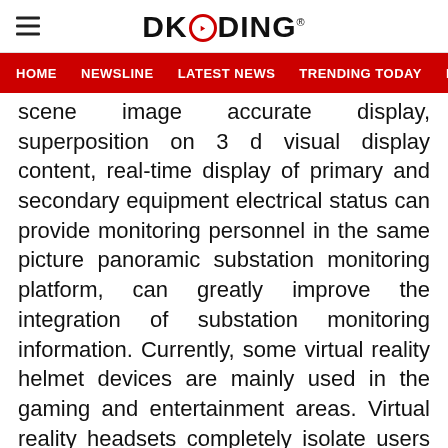DKODING
HOME   NEWSLINE   LATEST NEWS   TRENDING TODAY   ENT
scene image accurate display, superposition on 3 d visual display content, real-time display of primary and secondary equipment electrical status can provide monitoring personnel in the same picture panoramic substation monitoring platform, can greatly improve the integration of substation monitoring information. Currently, some virtual reality helmet devices are mainly used in the gaming and entertainment areas. Virtual reality headsets completely isolate users from the outside environment, providing better immersion and authenticity than traditional surround-around projection